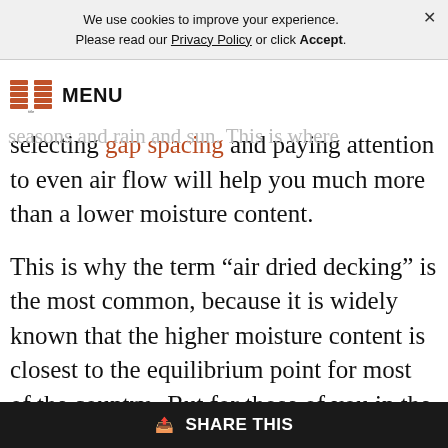We use cookies to improve your experience. Please read our Privacy Policy or click Accept.
MENU
surrounding environment the decking will pick and damp moisture with the change in seasons and rain and sun. This is where
selecting gap spacing and paying attention to even air flow will help you much more than a lower moisture content.
This is why the term “air dried decking” is the most common, because it is widely known that the higher moisture content is closest to the equilibrium point for most of the country.  But for those of you in the dry climates or with unshaded southern exposure decks, you will hear that installing “kiln dried decking” is the better solution. I … enough,
SHARE THIS